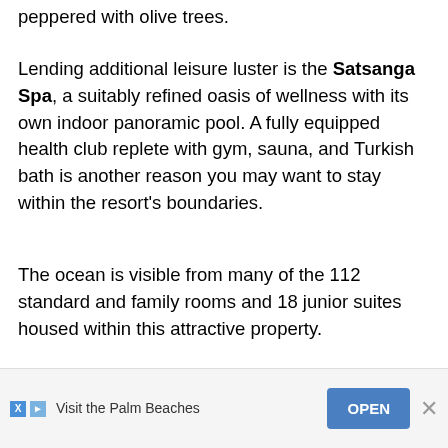peppered with olive trees.
Lending additional leisure luster is the Satsanga Spa, a suitably refined oasis of wellness with its own indoor panoramic pool. A fully equipped health club replete with gym, sauna, and Turkish bath is another reason you may want to stay within the resort's boundaries.
The ocean is visible from many of the 112 standard and family rooms and 18 junior suites housed within this attractive property.
Responsible for the interior décor theme are some of Portugal's biggest names in fashion, designers such as
[Figure (other): Advertisement banner: 'Visit the Palm Beaches' with OPEN button and close X icon]